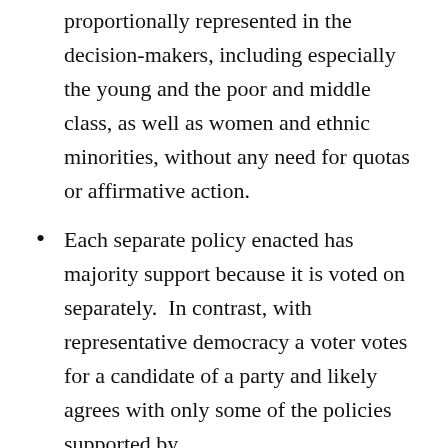proportionally represented in the decision-makers, including especially the young and the poor and middle class, as well as women and ethnic minorities, without any need for quotas or affirmative action.
Each separate policy enacted has majority support because it is voted on separately.  In contrast, with representative democracy a voter votes for a candidate of a party and likely agrees with only some of the policies supported by